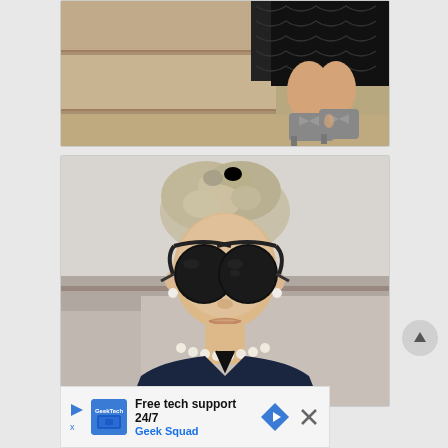[Figure (photo): Street fashion photo showing lower body of person wearing black lace skirt and grey bow-tie heeled sandals, standing on stone steps]
[Figure (photo): Portrait of young girl wearing large round black sunglasses, hair in messy bun, pearl necklace, dark top, looking at camera with slight background blur]
[Figure (other): Advertisement banner: Free tech support 24/7 - Geek Squad with blue logo, navigation arrow icon, and close X button]